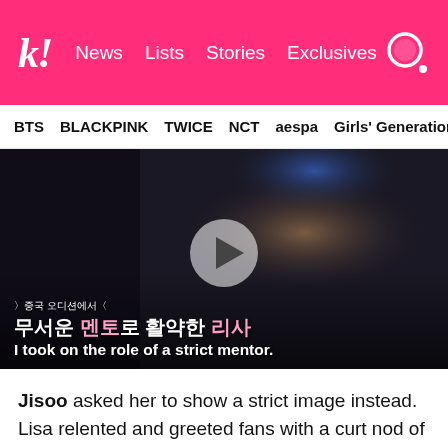k! News | Lists | Stories | Exclusives
BTS | BLACKPINK | TWICE | NCT | aespa | Girls' Generation
[Figure (screenshot): Video thumbnail showing a young woman with bangs in a cream-colored outfit on a dark stage. A semi-transparent play button circle is overlaid in the center. Korean subtitles read '무서운 멘토로 활약한 리사' and English subtitle reads 'I took on the role of a strict mentor.']
Jisoo asked her to show a strict image instead. Lisa relented and greeted fans with a curt nod of her head, with her members laughing at the sight.